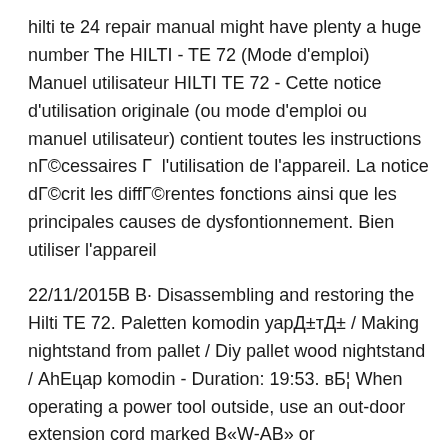hilti te 24 repair manual might have plenty a huge number The HILTI - TE 72 (Mode d'emploi) Manuel utilisateur HILTI TE 72 - Cette notice d'utilisation originale (ou mode d'emploi ou manuel utilisateur) contient toutes les instructions nГ©cessaires Г  l'utilisation de l'appareil. La notice dГ©crit les diffГ©rentes fonctions ainsi que les principales causes de dysfontionnement. Bien utiliser l'appareil
22/11/2015В В· Disassembling and restoring the Hilti TE 72. Paletten komodin уарД±тД± / Making nightstand from pallet / Diy pallet wood nightstand / АhЕцар komodin - Duration: 19:53. вБ¦ When operating a power tool outside, use an out-door extension cord marked В«W-АВ» or